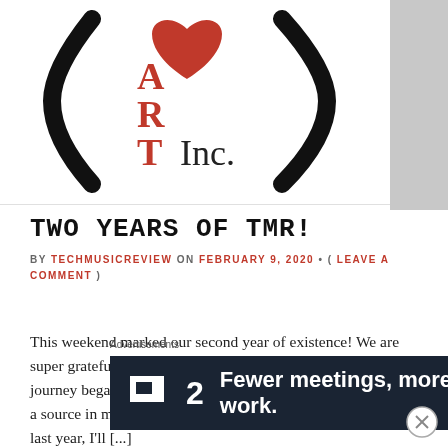[Figure (logo): Partial logo showing letters A, R, T with Inc. text — appears to be a heart/art themed logo]
TWO YEARS OF TMR!
BY TECHMUSICREVIEW ON FEBRUARY 9, 2020 • ( LEAVE A COMMENT )
This weekend marked our second year of existence!  We are super grateful for all of our followers (new and old!) since the journey began and can't thank everyone enough to using us as a source in music news and discovery.  If you weren't on board last year, I'll [...]
Advertisements
[Figure (screenshot): Advertisement banner: dark navy background with square icon, number 2, and text 'Fewer meetings, more work.']